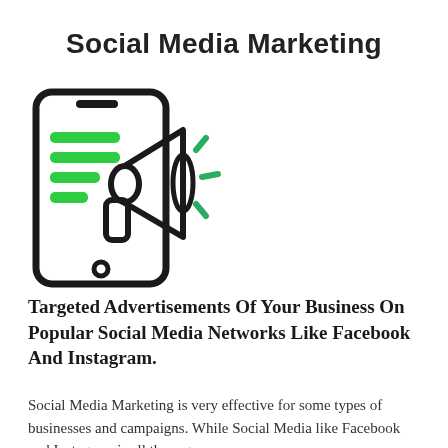Social Media Marketing
[Figure (illustration): Icon of a smartphone with green text lines on screen and a megaphone/loudspeaker overlapping, with green motion lines indicating sound, all in black outline style.]
Targeted Advertisements Of Your Business On Popular Social Media Networks Like Facebook And Instagram.
Social Media Marketing is very effective for some types of businesses and campaigns. While Social Media like Facebook and Instagram is all the rage